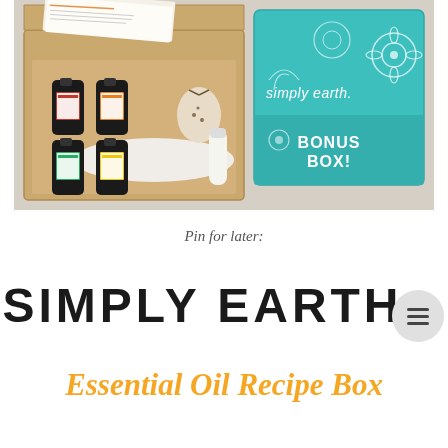[Figure (photo): Simply Earth essential oil recipe box subscription product photo showing an open cardboard box with four essential oil bottles and sachets, alongside a teal Simply Earth branded BONUS BOX]
Pin for later:
SIMPLY EARTH
Essential Oil Recipe Box